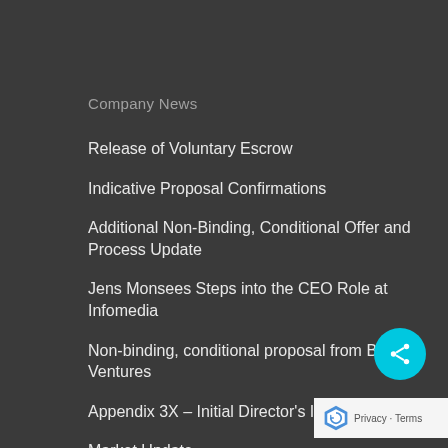Company News
Release of Voluntary Escrow
Indicative Proposal Confirmations
Additional Non-Binding, Conditional Offer and Process Update
Jens Monsees Steps into the CEO Role at Infomedia
Non-binding, conditional proposal from Battery Ventures
Appendix 3X – Initial Director's Interest Notice
Market Update